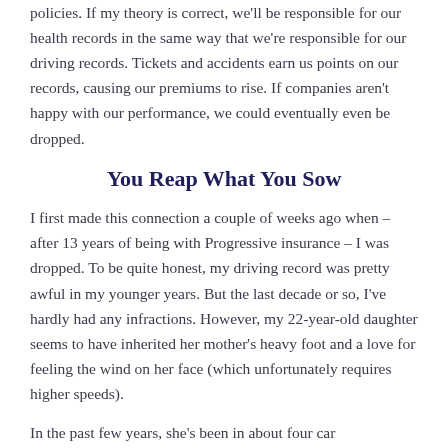policies. If my theory is correct, we'll be responsible for our health records in the same way that we're responsible for our driving records. Tickets and accidents earn us points on our records, causing our premiums to rise. If companies aren't happy with our performance, we could eventually even be dropped.
You Reap What You Sow
I first made this connection a couple of weeks ago when – after 13 years of being with Progressive insurance – I was dropped. To be quite honest, my driving record was pretty awful in my younger years. But the last decade or so, I've hardly had any infractions. However, my 22-year-old daughter seems to have inherited her mother's heavy foot and a love for feeling the wind on her face (which unfortunately requires higher speeds).
In the past few years, she's been in about four car